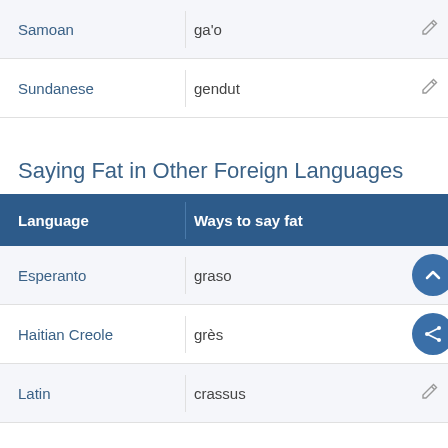| Language | Ways to say fat |
| --- | --- |
| Samoan | ga'o |
| Sundanese | gendut |
Saying Fat in Other Foreign Languages
| Language | Ways to say fat |
| --- | --- |
| Esperanto | graso |
| Haitian Creole | grès |
| Latin | crassus |
Cite this Entry